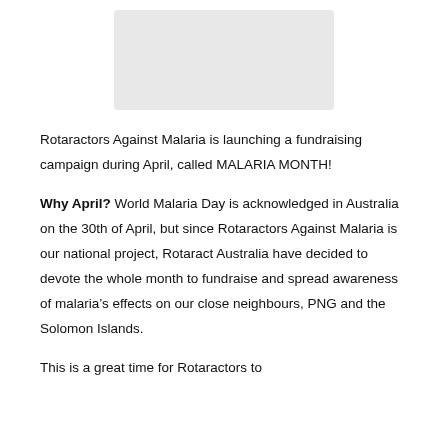[Figure (other): Light gray rectangular image placeholder at top of page]
Rotaractors Against Malaria is launching a fundraising campaign during April, called MALARIA MONTH!
Why April? World Malaria Day is acknowledged in Australia on the 30th of April, but since Rotaractors Against Malaria is our national project, Rotaract Australia have decided to devote the whole month to fundraise and spread awareness of malaria’s effects on our close neighbours, PNG and the Solomon Islands.
This is a great time for Rotaractors to